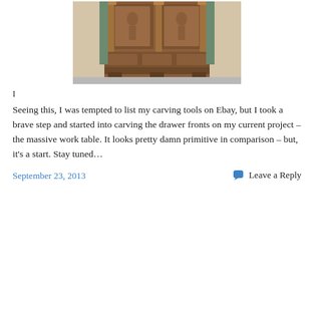[Figure (photo): Photograph of an ornately carved wooden cabinet or furniture piece with detailed relief carvings of figures and foliage, displayed in what appears to be a museum or formal room setting.]
I
Seeing this, I was tempted to list my carving tools on Ebay, but I took a brave step and started into carving the drawer fronts on my current project – the massive work table. It looks pretty damn primitive in comparison – but, it's a start. Stay tuned…
September 23, 2013
Leave a Reply